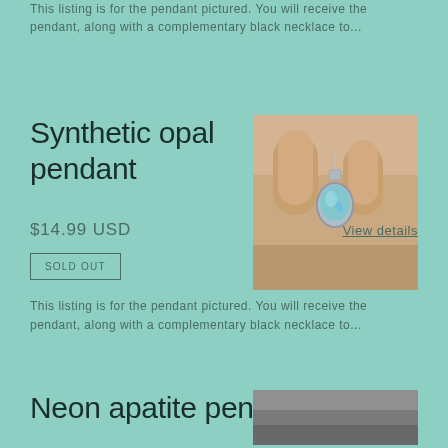This listing is for the pendant pictured. You will receive the pendant, along with a complementary black necklace to...
Synthetic opal pendant
[Figure (photo): Photo of a synthetic opal pendant being held between fingers, showing a teardrop-shaped opal stone with silver setting]
$14.99 USD
View details
SOLD OUT
This listing is for the pendant pictured. You will receive the pendant, along with a complementary black necklace to...
Neon apatite pendant
[Figure (photo): Partial photo of neon apatite pendant, mostly gray/dark background visible]